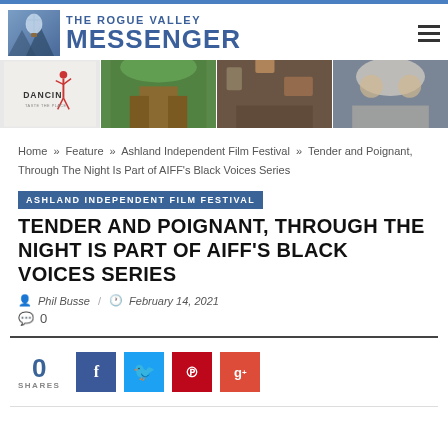[Figure (logo): The Rogue Valley Messenger logo with hot air balloon illustration]
[Figure (photo): Banner advertisement for DANCIN with dancer silhouette and restaurant/venue photos]
Home » Feature » Ashland Independent Film Festival » Tender and Poignant, Through The Night Is Part of AIFF's Black Voices Series
ASHLAND INDEPENDENT FILM FESTIVAL
TENDER AND POIGNANT, THROUGH THE NIGHT IS PART OF AIFF'S BLACK VOICES SERIES
Phil Busse / February 14, 2021
0
[Figure (infographic): Social sharing bar showing 0 shares with Facebook, Twitter, Pinterest and Google+ buttons]